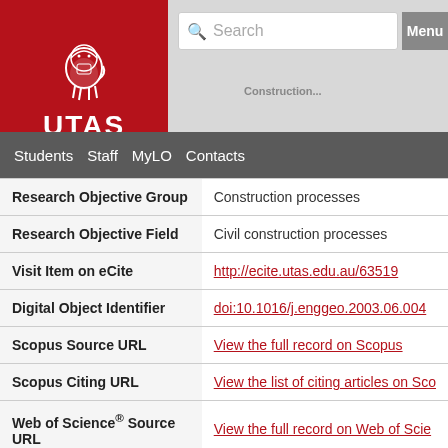[Figure (logo): UTAS University of Tasmania logo with lion crest on red background]
Search  Menu  Students  Staff  MyLO  Contacts
| Field | Value |
| --- | --- |
| Research Objective Group | Construction processes |
| Research Objective Field | Civil construction processes |
| Visit Item on eCite | http://ecite.utas.edu.au/63519 |
| Digital Object Identifier | doi:10.1016/j.enggeo.2003.06.004 |
| Scopus Source URL | View the full record on Scopus |
| Scopus Citing URL | View the list of citing articles on Sco |
| Web of Science® Source URL | View the full record on Web of Scie |
| Web of Science® Citing URL | View the list of citing articles on We |
| Web of Science® Related URL | View the list of related articles on W |
| Number of Times Cited | 119 |